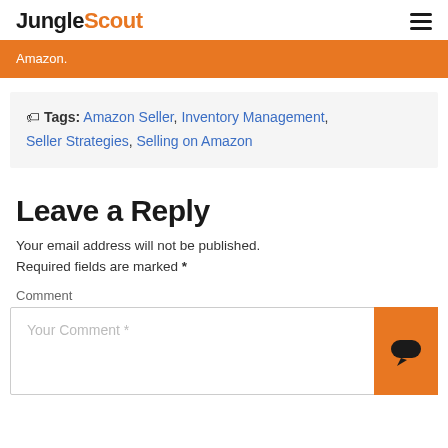JungleScout
Amazon.
Tags: Amazon Seller, Inventory Management, Seller Strategies, Selling on Amazon
Leave a Reply
Your email address will not be published. Required fields are marked *
Comment
Your Comment *